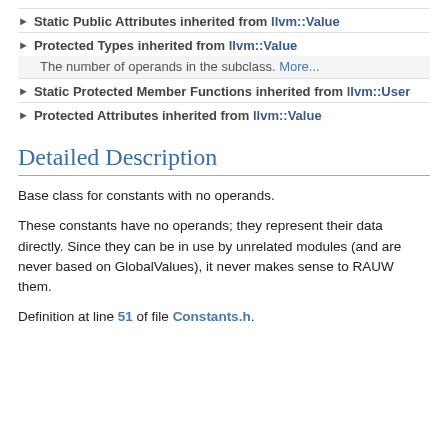Static Public Attributes inherited from llvm::Value
Protected Types inherited from llvm::Value
The number of operands in the subclass. More...
Static Protected Member Functions inherited from llvm::User
Protected Attributes inherited from llvm::Value
Detailed Description
Base class for constants with no operands.
These constants have no operands; they represent their data directly. Since they can be in use by unrelated modules (and are never based on GlobalValues), it never makes sense to RAUW them.
Definition at line 51 of file Constants.h.